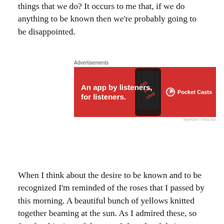things that we do? It occurs to me that, if we do anything to be known then we're probably going to be disappointed.
[Figure (other): Advertisement banner for Pocket Casts app. Red background with white text reading 'An app by listeners, for listeners.' with a phone image and Pocket Casts logo on the right.]
When I think about the desire to be known and to be recognized I'm reminded of the roses that I passed by this morning. A beautiful bunch of yellows knitted together beaming at the sun. As I admired these, so few for this time of the year, I thought of their scent. Breathing it in, intoxicating and sweet, still lingering from yesterday, and I walked on. As I continued, I thought on that act, the choice to not smell the roses and it struck me. They bloom and wilt, freely give. Knowing nothing, but the touch of the wind, the glory of the sun, and the pleasure of God.